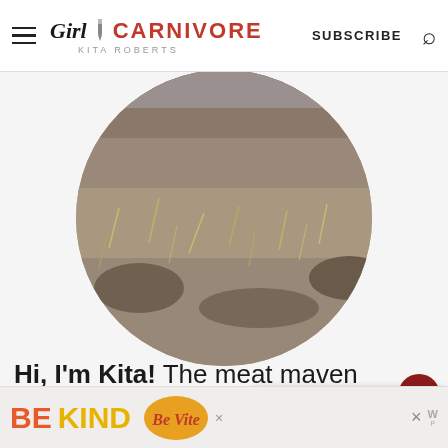Girl Carnivore - Kita Roberts | SUBSCRIBE
[Figure (photo): Circular cropped photo showing dry scrubland/desert terrain with rocks and dry grass]
Hi, I'm Kita! The meat maven for GirlCarnivore®. I'm a freelancing creator, recipe developer, photographer, and world traveling food junkie
[Figure (infographic): What's Next widget showing Jalapeno Popper Roa... with a food thumbnail]
[Figure (infographic): BE KIND advertisement banner with decorative script logo]